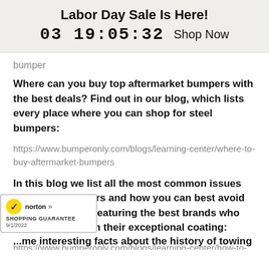Labor Day Sale Is Here!
03 19:05:32  Shop Now
bumper
Where can you buy top aftermarket bumpers with the best deals? Find out in our blog, which lists every place where you can shop for steel bumpers:
https://www.bumperonly.com/blogs/learning-center/where-to-buy-aftermarket-bumpers
In this blog we list all the most common issues with steel bumpers and how you can best avoid them, alongside featuring the best brands who prevent them with their exceptional coating:
https://www.bumperonly.com/blogs/learning-center/how-to-...st-and-a-chipped-bumper
[Figure (logo): Norton Shopping Guarantee badge with checkmark, dated 9/1/2022]
...me interesting facts about the history of towing